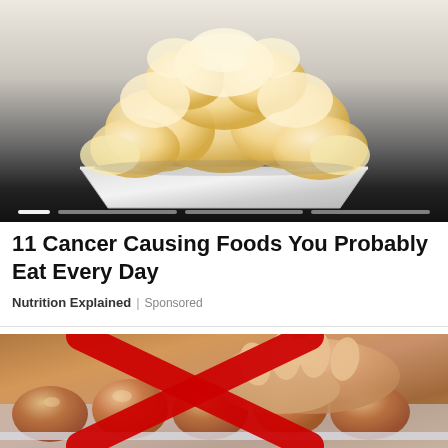[Figure (photo): A white bowl filled with popcorn against a dark gradient background, with navigation indicator dots at the bottom]
11 Cancer Causing Foods You Probably Eat Every Day
Nutrition Explained | Sponsored
[Figure (photo): A close-up photo of brown eggs in a refrigerator tray with a large red X overlaid on the image]